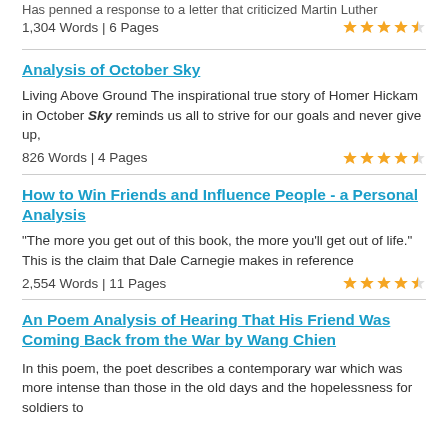Has penned a response to a letter that criticized Martin Luther
1,304 Words | 6 Pages ★★★★½
Analysis of October Sky
Living Above Ground The inspirational true story of Homer Hickam in October Sky reminds us all to strive for our goals and never give up,
826 Words | 4 Pages ★★★★½
How to Win Friends and Influence People - a Personal Analysis
"The more you get out of this book, the more you'll get out of life." This is the claim that Dale Carnegie makes in reference
2,554 Words | 11 Pages ★★★★½
An Poem Analysis of Hearing That His Friend Was Coming Back from the War by Wang Chien
In this poem, the poet describes a contemporary war which was more intense than those in the old days and the hopelessness for soldiers to